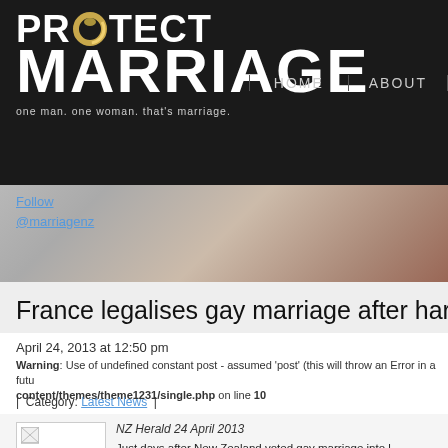[Figure (logo): Protect Marriage logo with gold ring design, white bold text 'PROTECT MARRIAGE', tagline 'one man. one woman. that’s marriage.' on black background]
HOME   ABOUT
Follow
@marriagenz
France legalises gay marriage after harsh
April 24, 2013 at 12:50 pm
Warning: Use of undefined constant post - assumed 'post' (this will throw an Error in a future version of PHP) in /home/marriagenz/public_html/wp-content/themes/theme1231/single.php on line 10
| Category: Latest News |
NZ Herald 24 April 2013
Just days after New Zealand voted gay marriage into l
France’s lower house National Assembly overnight (NZ